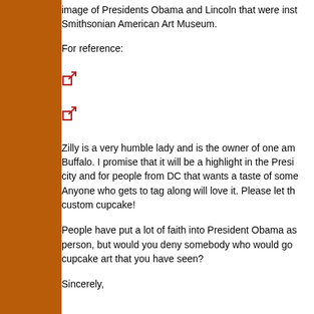image of Presidents Obama and Lincoln that were inst Smithsonian American Art Museum.
For reference:
[Figure (other): External link icon (red arrow pointing up-right out of a box)]
[Figure (other): External link icon (red arrow pointing up-right out of a box)]
Zilly is a very humble lady and is the owner of one am Buffalo. I promise that it will be a highlight in the Presi city and for people from DC that wants a taste of some Anyone who gets to tag along will love it. Please let th custom cupcake!
People have put a lot of faith into President Obama as person, but would you deny somebody who would go cupcake art that you have seen?
Sincerely,